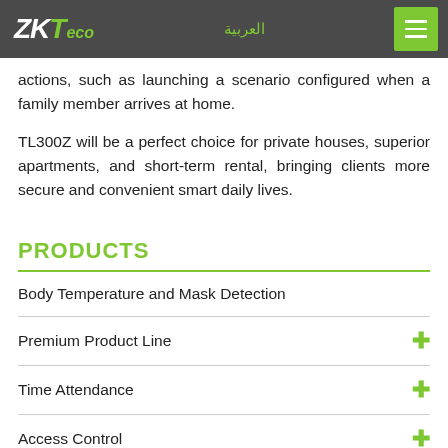ZKTeco | العربية
actions, such as launching a scenario configured when a family member arrives at home.
TL300Z will be a perfect choice for private houses, superior apartments, and short-term rental, bringing clients more secure and convenient smart daily lives.
PRODUCTS
Body Temperature and Mask Detection
Premium Product Line
Time Attendance
Access Control